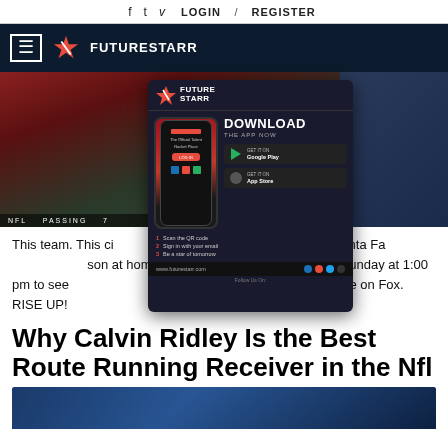f  t  v  LOGIN  /  REGISTER
[Figure (logo): Future Starr logo with hamburger menu on dark navy background]
[Figure (screenshot): NFL passing game screenshot with Future Starr app download advertisement overlay showing Google Play and App Store buttons]
This team. This city. NOBODY. It's 2021, and the Atlanta Fa... season at home for the first time ever... Tune-in Sunday at 1:00 pm to see... hiladelphia Eagles. Live on Fox. RISE UP!
Why Calvin Ridley Is the Best Route Running Receiver in the Nfl
[Figure (photo): Photo of Calvin Ridley at bottom of page]